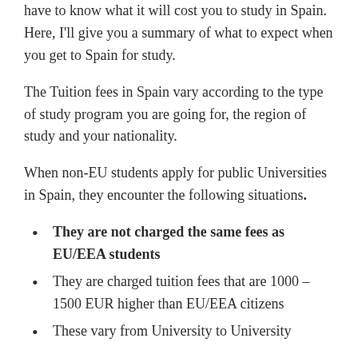have to know what it will cost you to study in Spain. Here, I'll give you a summary of what to expect when you get to Spain for study.
The Tuition fees in Spain vary according to the type of study program you are going for, the region of study and your nationality.
When non-EU students apply for public Universities in Spain, they encounter the following situations.
They are not charged the same fees as EU/EEA students
They are charged tuition fees that are 1000 – 1500 EUR higher than EU/EEA citizens
These vary from University to University